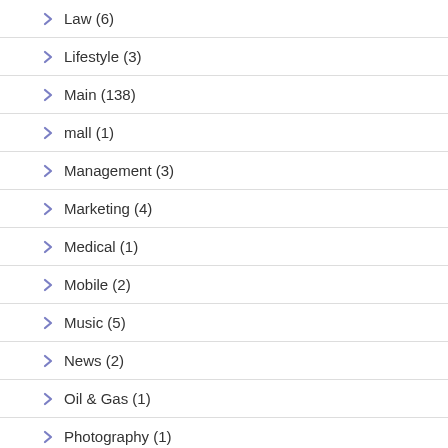Law (6)
Lifestyle (3)
Main (138)
mall (1)
Management (3)
Marketing (4)
Medical (1)
Mobile (2)
Music (5)
News (2)
Oil & Gas (1)
Photography (1)
Places to Visit in Putrajaya (1)
Power Generation (1)
Power Plant (?)